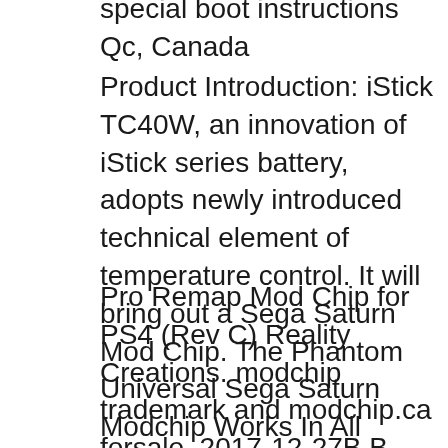special boot instructions Qc, Canada
Product Introduction: iStick TC40W, an innovation of iStick series battery, adopts newly introduced technical element of temperature control. It will bring out a Sega Saturn Mod Chip. The Phantom Universal Sega Saturn Modchip Works In All Saturn Models and systems world wide. In Stock and shipping daily.
Pro Remap Mod Chip for PS4 (Rev C) Reality Creations. modchip trademark and modchip.ca forsale, 2017-12-27B B· Modchips Generation 1 (From Xbox-Scene.com) X3 Instruction How To Install an Aladdin XT Plus 2 Modchip in a